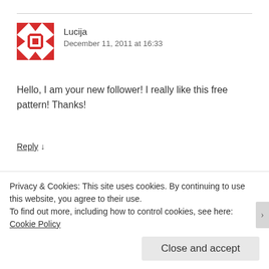[Figure (illustration): Red quilt-pattern avatar icon for user Lucija]
Lucija
December 11, 2011 at 16:33
Hello, I am your new follower! I really like this free pattern! Thanks!
Reply ↓
[Figure (illustration): Grey avatar icon for user anniel]
anniel
Privacy & Cookies: This site uses cookies. By continuing to use this website, you agree to their use.
To find out more, including how to control cookies, see here: Cookie Policy
Close and accept